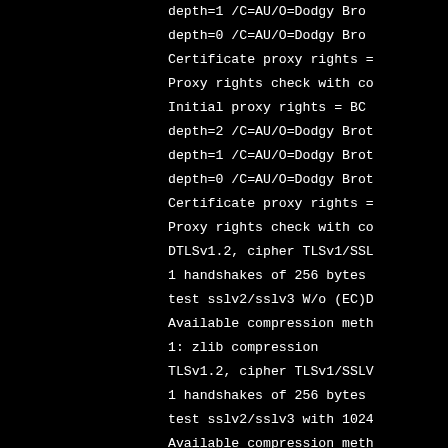[Figure (screenshot): Terminal/console output showing SSL/TLS handshake debugging information with certificate chain depth entries, proxy rights checks, cipher suite information, compression methods, and handshake statistics. Black background with white monospace text, content truncated on the right side.]